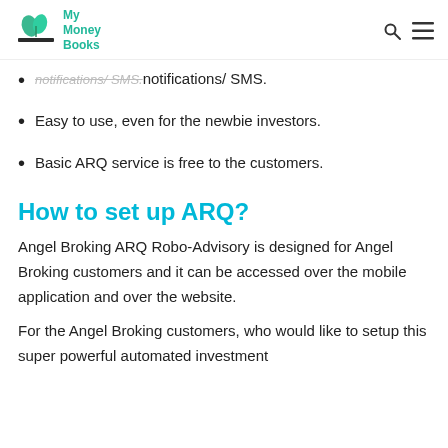My Money Books
Notifications/ SMS.
Easy to use, even for the newbie investors.
Basic ARQ service is free to the customers.
How to set up ARQ?
Angel Broking ARQ Robo-Advisory is designed for Angel Broking customers and it can be accessed over the mobile application and over the website.
For the Angel Broking customers, who would like to setup this super powerful automated investment